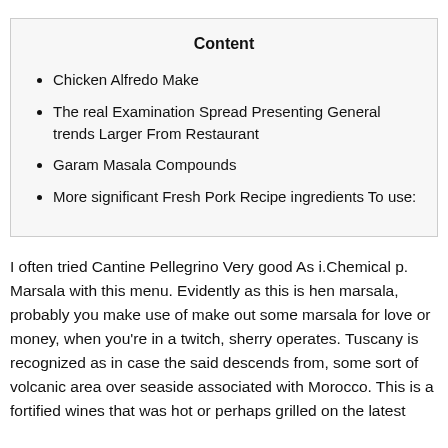Content
Chicken Alfredo Make
The real Examination Spread Presenting General trends Larger From Restaurant
Garam Masala Compounds
More significant Fresh Pork Recipe ingredients To use:
I often tried Cantine Pellegrino Very good As i.Chemical p. Marsala with this menu. Evidently as this is hen marsala, probably you make use of make out some marsala for love or money, when you're in a twitch, sherry operates. Tuscany is recognized as in case the said descends from, some sort of volcanic area over seaside associated with Morocco. This is a fortified wines that was hot or perhaps grilled on the latest